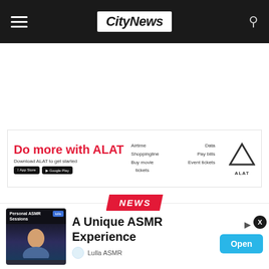CityNews
[Figure (screenshot): ALAT banking app advertisement banner: 'Do more with ALAT' with app store download buttons, phone graphic showing Airtime, Data, Shopping, Pay bills, Buy movie tickets, Event tickets features, and ALAT logo]
NEWS
[Figure (screenshot): Article preview bar with chevron down button, circular person thumbnail, article content area with red bottom border, and X close button]
[Figure (screenshot): Advertisement: 'A Unique ASMR Experience' from Lulla ASMR with Personal ASMR Sessions thumbnail, Open button, play and close buttons]